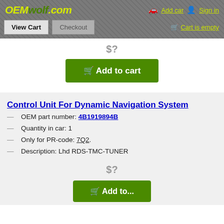OEMwolf.com | Add car | Sign in
View Cart | Checkout | Cart is empty
$?
Add to cart
Control Unit For Dynamic Navigation System
OEM part number: 4B1919894B
Quantity in car: 1
Only for PR-code: 7Q2.
Description: Lhd RDS-TMC-TUNER
$?
Add to cart